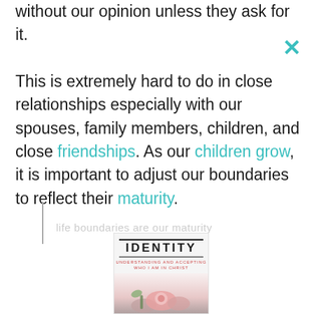without our opinion unless they ask for it.

This is extremely hard to do in close relationships especially with our spouses, family members, children, and close friendships. As our children grow, it is important to adjust our boundaries to reflect their maturity.
[Figure (illustration): Book cover for 'IDENTITY: Understanding and Accepting Who I Am in Christ' with a floral image at the bottom]